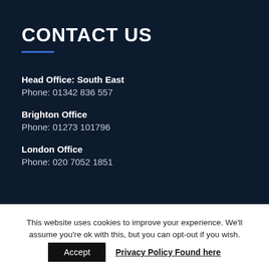CONTACT US
Head Office: South East
Phone: 01342 836 557
Brighton Office
Phone: 01273 101796
London Office
Phone: 020 7052 1851
This website uses cookies to improve your experience. We'll assume you're ok with this, but you can opt-out if you wish.
Accept
Privacy Policy Found here